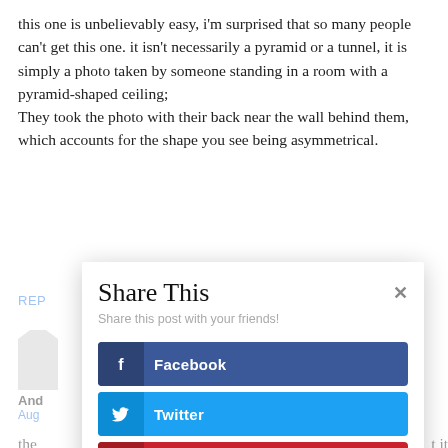this one is unbelievably easy, i'm surprised that so many people can't get this one. it isn't necessarily a pyramid or a tunnel, it is simply a photo taken by someone standing in a room with a pyramid-shaped ceiling; They took the photo with their back near the wall behind them, which accounts for the shape you see being asymmetrical.
REP
[Figure (other): User avatar silhouette placeholder (grey shape)]
And
Aug
the
sym
t it
[Figure (screenshot): Share This modal dialog with Facebook, Twitter, and Pinterest share buttons. Subtitle: Share this post with your friends!]